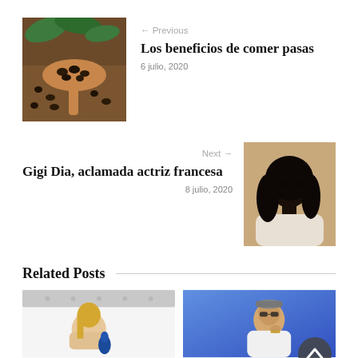[Figure (photo): Photo of raisins on a wooden spoon with green leaves in background]
← Previous
Los beneficios de comer pasas
6 julio, 2020
Next →
Gigi Dia, aclamada actriz francesa
8 julio, 2020
[Figure (photo): Portrait photo of a Black woman with long dark hair against a beige background]
Related Posts
[Figure (photo): Photo of a blonde woman lying on a white bed with a blue object]
[Figure (photo): Photo of a young man wearing sunglasses and a white hoodie against a blue background]